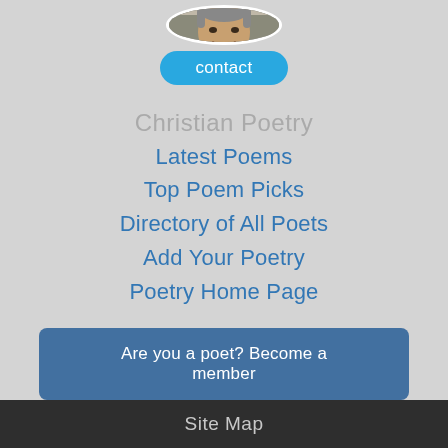[Figure (photo): Circular profile photo of a middle-aged man with short gray hair, smiling, wearing a dark tank top. Background shows an indoor setting.]
contact
Christian Poetry
Latest Poems
Top Poem Picks
Directory of All Poets
Add Your Poetry
Poetry Home Page
Are you a poet? Become a member
Site Map